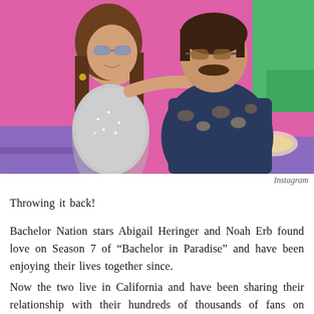[Figure (photo): A couple posing together in front of a colorful pink and green background. A woman with long brown hair wearing sunglasses and a silver sparkly top hugs a man with a mustache wearing sunglasses and a patterned shirt.]
Instagram
Throwing it back!
Bachelor Nation stars Abigail Heringer and Noah Erb found love on Season 7 of “Bachelor in Paradise” and have been enjoying their lives together since.
Now the two live in California and have been sharing their relationship with their hundreds of thousands of fans on social media.